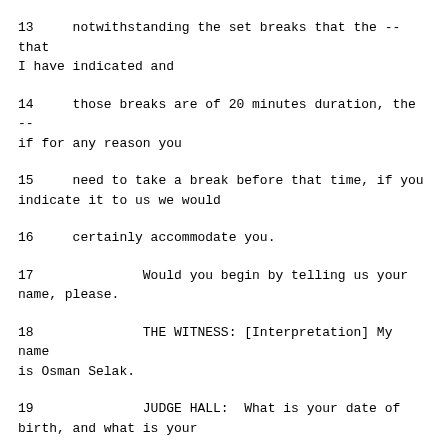13     notwithstanding the set breaks that the -- that I have indicated and
14     those breaks are of 20 minutes duration, the -- if for any reason you
15     need to take a break before that time, if you indicate it to us we would
16     certainly accommodate you.
17              Would you begin by telling us your name, please.
18              THE WITNESS: [Interpretation] My name is Osman Selak.
19              JUDGE HALL:  What is your date of birth, and what is your